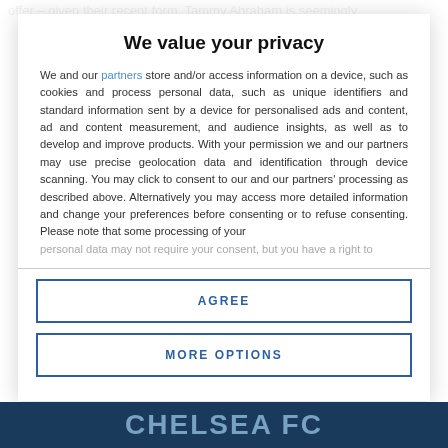offer – given their recent form, Tammy Abraham is seemingly
We value your privacy
We and our partners store and/or access information on a device, such as cookies and process personal data, such as unique identifiers and standard information sent by a device for personalised ads and content, ad and content measurement, and audience insights, as well as to develop and improve products. With your permission we and our partners may use precise geolocation data and identification through device scanning. You may click to consent to our and our partners' processing as described above. Alternatively you may access more detailed information and change your preferences before consenting or to refuse consenting. Please note that some processing of your personal data may not require your consent, but you have a right to
AGREE
MORE OPTIONS